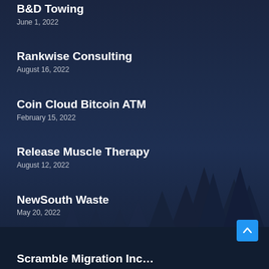B&D Towing
June 1, 2022
Rankwise Consulting
August 16, 2022
Coin Cloud Bitcoin ATM
February 15, 2022
Release Muscle Therapy
August 12, 2022
NewSouth Waste
May 20, 2022
Scramble Migration Inc...